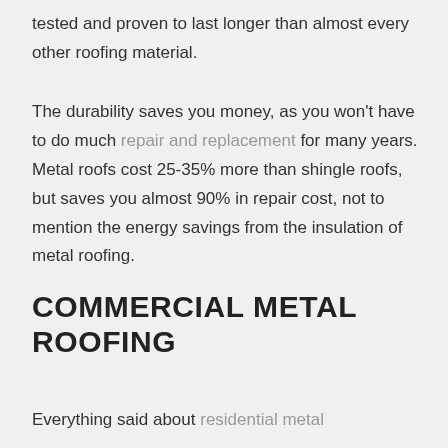tested and proven to last longer than almost every other roofing material.
The durability saves you money, as you won't have to do much repair and replacement for many years. Metal roofs cost 25-35% more than shingle roofs, but saves you almost 90% in repair cost, not to mention the energy savings from the insulation of metal roofing.
COMMERCIAL METAL ROOFING
Everything said about residential metal